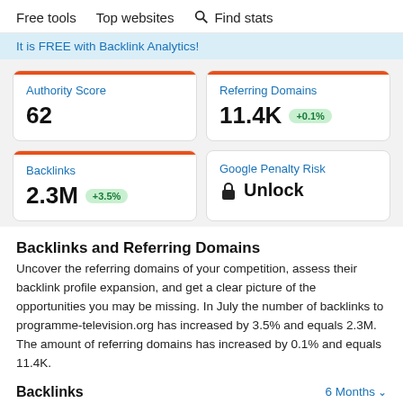Free tools   Top websites   🔍 Find stats
It is FREE with Backlink Analytics!
Authority Score
62
Referring Domains
11.4K +0.1%
Backlinks
2.3M +3.5%
Google Penalty Risk
🔒 Unlock
Backlinks and Referring Domains
Uncover the referring domains of your competition, assess their backlink profile expansion, and get a clear picture of the opportunities you may be missing. In July the number of backlinks to programme-television.org has increased by 3.5% and equals 2.3M. The amount of referring domains has increased by 0.1% and equals 11.4K.
Backlinks   6 Months ∨